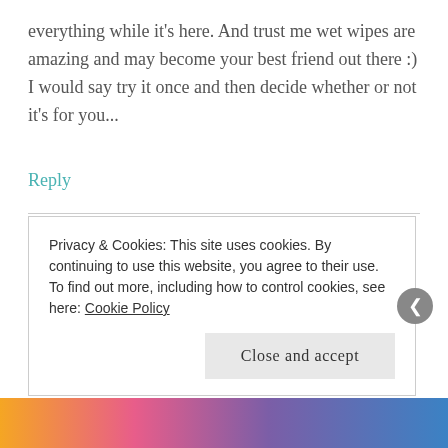everything while it's here. And trust me wet wipes are amazing and may become your best friend out there :) I would say try it once and then decide whether or not it's for you...
Reply
susanhayden
APRIL 26, 2016 AT 9:23 AM
You are right! :-)
Privacy & Cookies: This site uses cookies. By continuing to use this website, you agree to their use.
To find out more, including how to control cookies, see here: Cookie Policy
Close and accept